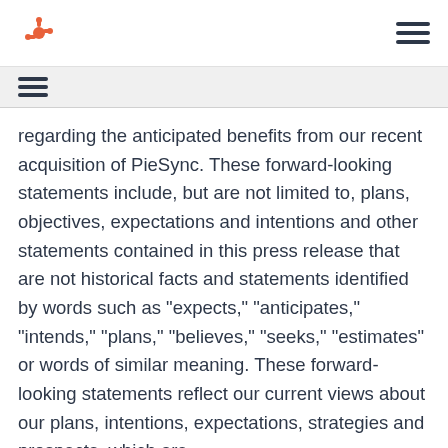HubSpot logo and navigation
regarding the anticipated benefits from our recent acquisition of PieSync. These forward-looking statements include, but are not limited to, plans, objectives, expectations and intentions and other statements contained in this press release that are not historical facts and statements identified by words such as "expects," "anticipates," "intends," "plans," "believes," "seeks," "estimates" or words of similar meaning. These forward-looking statements reflect our current views about our plans, intentions, expectations, strategies and prospects, which are